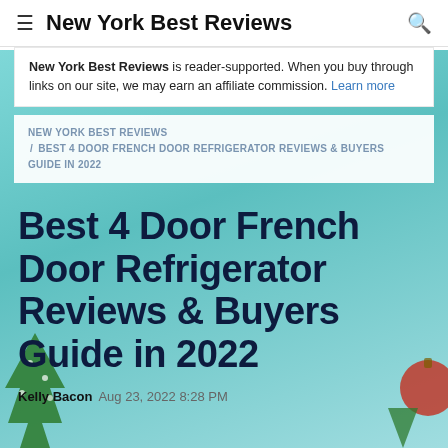New York Best Reviews
New York Best Reviews is reader-supported. When you buy through links on our site, we may earn an affiliate commission. Learn more
NEW YORK BEST REVIEWS / BEST 4 DOOR FRENCH DOOR REFRIGERATOR REVIEWS & BUYERS GUIDE IN 2022
Best 4 Door French Door Refrigerator Reviews & Buyers Guide in 2022
Kelly Bacon  Aug 23, 2022 8:28 PM